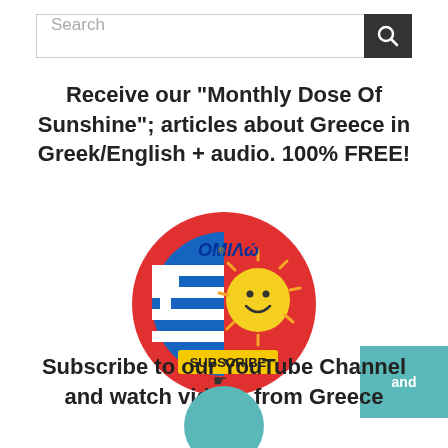[Figure (screenshot): Search bar with text input and dark search button with magnifying glass icon]
Receive our "Monthly Dose Of Sunshine"; articles about Greece in Greek/English + audio. 100% FREE!
[Figure (logo): Round red logo with Greek flag, smiley sun face, OMIΛΩ text in blue/gold, and yellow SUBSCRIBE button with cursor hand]
Subscribe to our YouTube Channel and watch videos from Greece